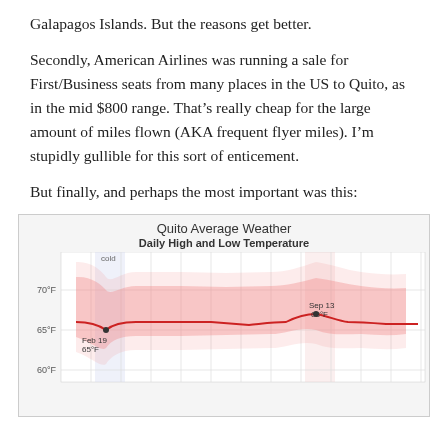Galapagos Islands. But the reasons get better.
Secondly, American Airlines was running a sale for First/Business seats from many places in the US to Quito, as in the mid $800 range. That’s really cheap for the large amount of miles flown (AKA frequent flyer miles). I’m stupidly gullible for this sort of enticement.
But finally, and perhaps the most important was this:
[Figure (line-chart): Daily High and Low Temperature chart for Quito showing temperature range around 65-70°F year-round. Annotations: Feb 19 65°F (low point), Sep 13 68°F (high point). Y-axis labels: 70°F, 65°F, 60°F. A 'cold' label appears near February. The chart shows a relatively flat line with a pink/red shaded band indicating temperature range.]